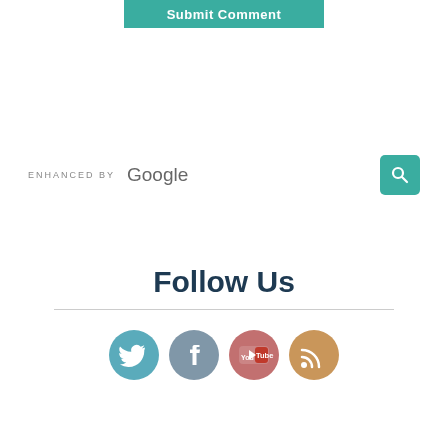[Figure (screenshot): Submit Comment button in teal/green color with white text]
[Figure (screenshot): Enhanced by Google search bar with teal search button icon]
Follow Us
[Figure (infographic): Four circular social media icons: Twitter (blue), Facebook (blue-gray), YouTube (red/pink), RSS (orange/golden)]